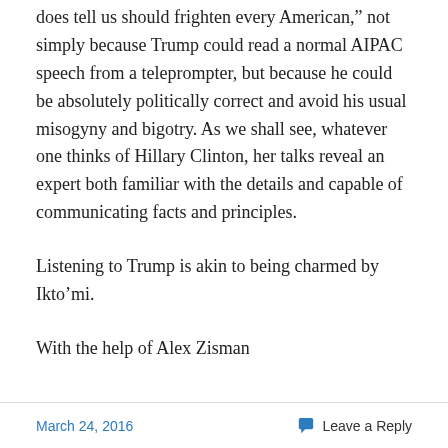does tell us should frighten every American," not simply because Trump could read a normal AIPAC speech from a teleprompter, but because he could be absolutely politically correct and avoid his usual misogyny and bigotry. As we shall see, whatever one thinks of Hillary Clinton, her talks reveal an expert both familiar with the details and capable of communicating facts and principles.
Listening to Trump is akin to being charmed by Ikto’mi.
With the help of Alex Zisman
March 24, 2016   Leave a Reply